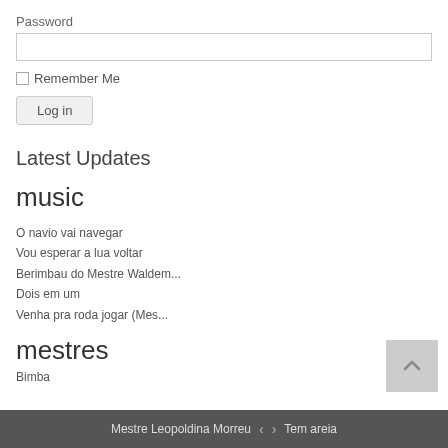Password
Remember Me
Log in
Latest Updates
music
O navio vai navegar
Vou esperar a lua voltar
Berimbau do Mestre Waldem...
Dois em um
Venha pra roda jogar (Mes...
mestres
Bimba
Mestre Leopoldina Morreu  <  >  Tem areia